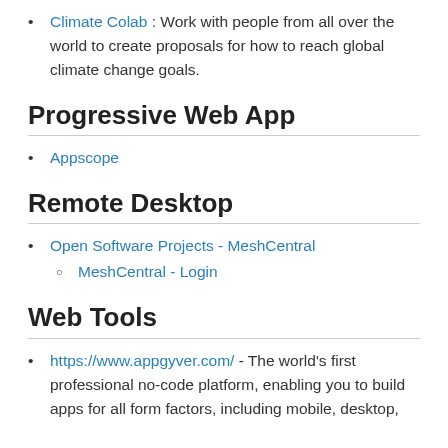Climate Colab : Work with people from all over the world to create proposals for how to reach global climate change goals.
Progressive Web App
Appscope
Remote Desktop
Open Software Projects - MeshCentral
MeshCentral - Login
Web Tools
https://www.appgyver.com/ - The world's first professional no-code platform, enabling you to build apps for all form factors, including mobile, desktop,